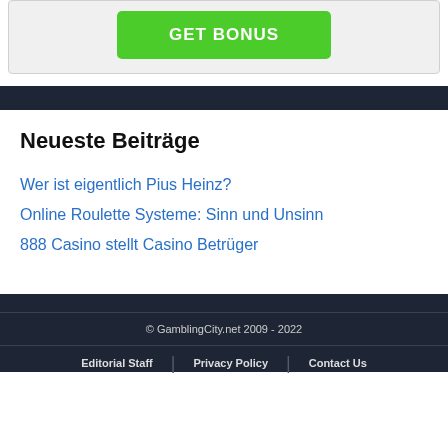[Figure (other): Green 'GET BONUS' button inside a light grey card]
Neueste Beiträge
Wer ist eigentlich Pius Heinz?
Online Roulette Systeme: Sinn und Unsinn
888 Casino stellt Casino Betrüger
© GamblingCity.net 2009 - 2022
Editorial Staff | Privacy Policy | Contact Us